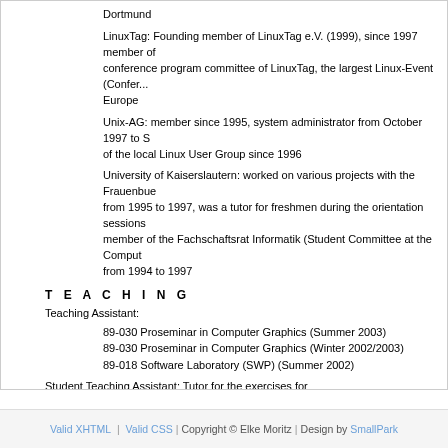Dortmund
LinuxTag: Founding member of LinuxTag e.V. (1999), since 1997 member of conference program committee of LinuxTag, the largest Linux-Event (Confer... Europe
Unix-AG: member since 1995, system administrator from October 1997 to S of the local Linux User Group since 1996
University of Kaiserslautern: worked on various projects with the Frauenbue from 1995 to 1997, was a tutor for freshmen during the orientation sessions member of the Fachschaftsrat Informatik (Student Committee at the Comput from 1994 to 1997
T E A C H I N G
Teaching Assistant:
89-030 Proseminar in Computer Graphics (Summer 2003)
89-030 Proseminar in Computer Graphics (Winter 2002/2003)
89-018 Software Laboratory (SWP) (Summer 2002)
Student Teaching Assistant: Tutor for the exercises for
89-009 "Higher Programming Languages (HPS)" (Summer 1999)
89-001 "Introduction to Computer Science" (Winter 1997/1998)
M E M B E R S H I P S
ACM SIGGRAPH
IEEE
LinuxTag e.V.
Unix-AG
Valid XHTML | Valid CSS | Copyright © Elke Moritz | Design by SmallPark